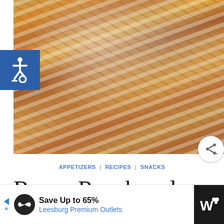[Figure (photo): Close-up photo of nachos or chips topped with melted cheese, bacon bits, and white ranch dressing sauce, served in a red checkered paper basket]
APPETIZERS | RECIPES | SNACKS
Bacon Ranch and
[Figure (infographic): Advertisement banner: Save Up to 65% - Leesburg Premium Outlets]
[Figure (infographic): Blue accessibility icon (wheelchair symbol) in blue square]
[Figure (infographic): Share button (circular, white background with share icon)]